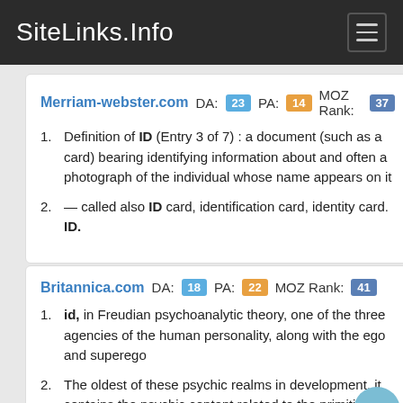SiteLinks.Info
Merriam-webster.com DA: 23 PA: 14 MOZ Rank: 37
Definition of ID (Entry 3 of 7) : a document (such as a card) bearing identifying information about and often a photograph of the individual whose name appears on it
— called also ID card, identification card, identity card. ID.
Britannica.com DA: 18 PA: 22 MOZ Rank: 41
id, in Freudian psychoanalytic theory, one of the three agencies of the human personality, along with the ego and superego
The oldest of these psychic realms in development, it contains the psychic content related to the primitive